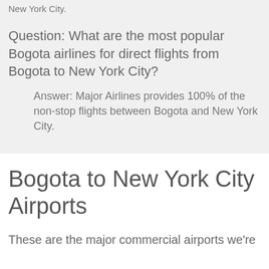New York City.
Question: What are the most popular Bogota airlines for direct flights from Bogota to New York City?
Answer: Major Airlines provides 100% of the non-stop flights between Bogota and New York City.
Bogota to New York City Airports
These are the major commercial airports we're